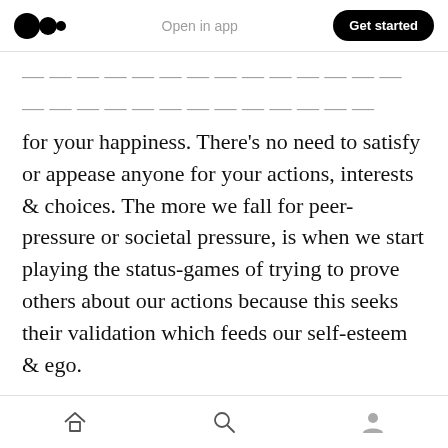Medium logo | Open in app | Get started
for your happiness. There's no need to satisfy or appease anyone for your actions, interests & choices. The more we fall for peer-pressure or societal pressure, is when we start playing the status-games of trying to prove others about our actions because this seeks their validation which feeds our self-esteem & ego.
This is the biggest zero-sum game one can ever play. Stay Away. Don't give a fuck to anyone's voices. Learn to filter between good advices & crap noise. Most are noise, choose wisely. Don't
Home | Search | Profile